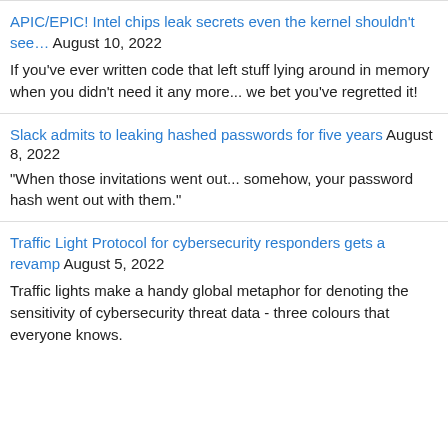APIC/EPIC! Intel chips leak secrets even the kernel shouldn't see… August 10, 2022
If you've ever written code that left stuff lying around in memory when you didn't need it any more... we bet you've regretted it!
Slack admits to leaking hashed passwords for five years August 8, 2022
"When those invitations went out... somehow, your password hash went out with them."
Traffic Light Protocol for cybersecurity responders gets a revamp August 5, 2022
Traffic lights make a handy global metaphor for denoting the sensitivity of cybersecurity threat data - three colours that everyone knows.